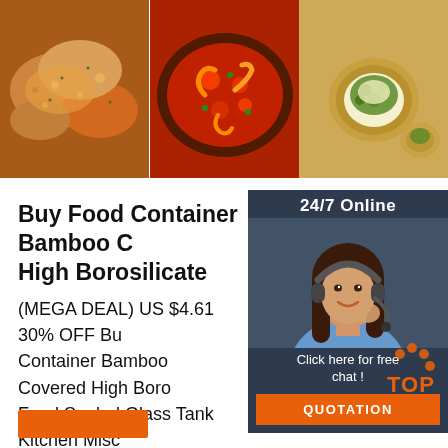[Figure (photo): Three food photos side by side: roasted chicken pieces, shrimp pizza/pasta, and stuffed bread/pastry cups]
Buy Food Container Bamboo Covered High Borosilicate
(MEGA DEAL) US $4.61 30% OFF Buy Food Container Bamboo Covered High Borosilicate Food Sealed Glass Tank Kitchen Miscellaneous Grain Storage Boxes From Seller Home BestLife General Merchandise Co., Ltd. Enjoy Free Shipping Worldwide! Limited Time Sale Easy Return. Shop Quality & Best Bottles,Jars & Boxes Directly From China Bottles,Jars & Boxes Suppliers.
[Figure (photo): 24/7 Online chat widget with woman wearing headset, dark navy background, orange QUOTATION button]
[Figure (logo): TOP badge with orange paw prints]